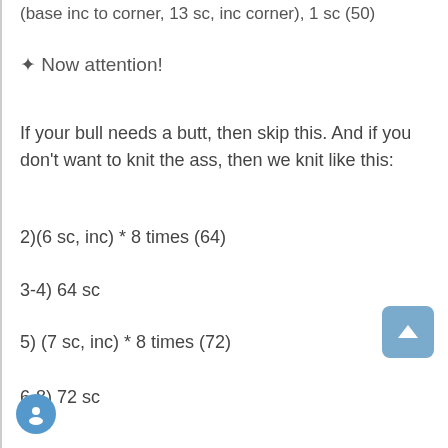(base inc to corner, 13 sc, inc corner), 1 sc (50)
✦ Now attention!
If your bull needs a butt, then skip this. And if you don't want to knit the ass, then we knit like this:
2)(6 sc, inc) * 8 times (64)
3-4) 64 sc
5) (7 sc, inc) * 8 times (72)
6-8) 72 sc
Further according to the description.
2)44 sc, inc * 5 times, 7 sc (61)